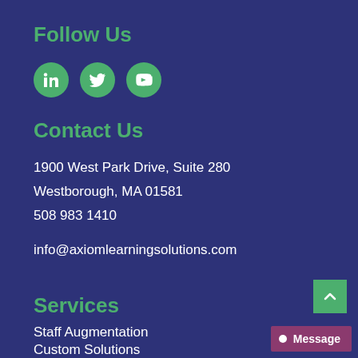Follow Us
[Figure (illustration): Three green circular social media icons: LinkedIn, Twitter, YouTube]
Contact Us
1900 West Park Drive, Suite 280
Westborough, MA 01581
508 983 1410
info@axiomlearningsolutions.com
Services
Staff Augmentation
Custom Solutions